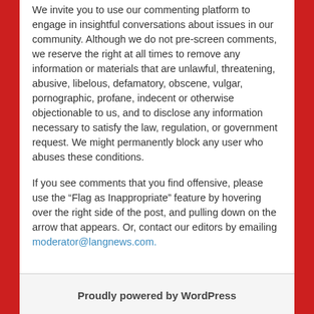We invite you to use our commenting platform to engage in insightful conversations about issues in our community. Although we do not pre-screen comments, we reserve the right at all times to remove any information or materials that are unlawful, threatening, abusive, libelous, defamatory, obscene, vulgar, pornographic, profane, indecent or otherwise objectionable to us, and to disclose any information necessary to satisfy the law, regulation, or government request. We might permanently block any user who abuses these conditions.
If you see comments that you find offensive, please use the “Flag as Inappropriate” feature by hovering over the right side of the post, and pulling down on the arrow that appears. Or, contact our editors by emailing moderator@langnews.com.
Proudly powered by WordPress
Southern California News Group